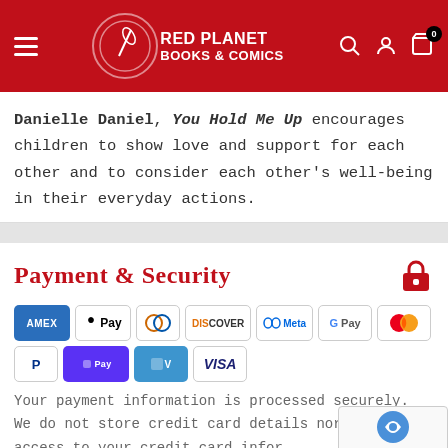[Figure (screenshot): Red Planet Books & Comics website header with red background, hamburger menu, logo, and navigation icons (search, account, cart with 0 badge)]
Danielle Daniel, You Hold Me Up encourages children to show love and support for each other and to consider each other's well-being in their everyday actions.
Payment & Security
[Figure (infographic): Payment method logos: American Express, Apple Pay, Diners Club, Discover, Meta Pay, Google Pay, Mastercard, PayPal, Shop Pay, Venmo, Visa]
Your payment information is processed securely. We do not store credit card details nor have access to your credit card infor...